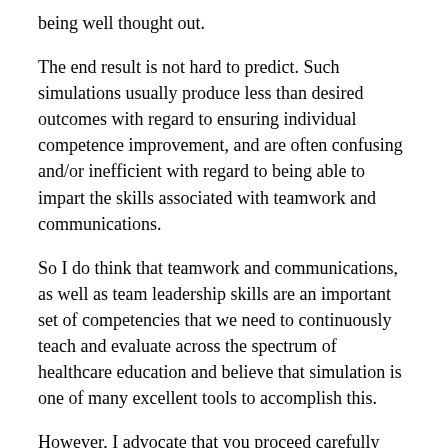being well thought out.
The end result is not hard to predict. Such simulations usually produce less than desired outcomes with regard to ensuring individual competence improvement, and are often confusing and/or inefficient with regard to being able to impart the skills associated with teamwork and communications.
So I do think that teamwork and communications, as well as team leadership skills are an important set of competencies that we need to continuously teach and evaluate across the spectrum of healthcare education and believe that simulation is one of many excellent tools to accomplish this.
However, I advocate that you proceed carefully with a well vetted list of objectives that lead to